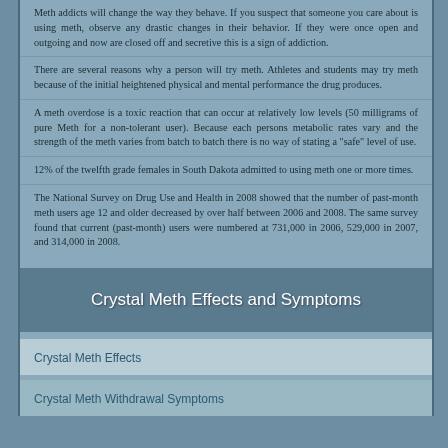Meth addicts will change the way they behave. If you suspect that someone you care about is using meth, observe any drastic changes in their behavior. If they were once open and outgoing and now are closed off and secretive this is a sign of addiction.
There are several reasons why a person will try meth. Athletes and students may try meth because of the initial heightened physical and mental performance the drug produces.
A meth overdose is a toxic reaction that can occur at relatively low levels (50 milligrams of pure Meth for a non-tolerant user). Because each persons metabolic rates vary and the strength of the meth varies from batch to batch there is no way of stating a "safe" level of use.
12% of the twelfth grade females in South Dakota admitted to using meth one or more times.
The National Survey on Drug Use and Health in 2008 showed that the number of past-month meth users age 12 and older decreased by over half between 2006 and 2008. The same survey found that current (past-month) users were numbered at 731,000 in 2006, 529,000 in 2007, and 314,000 in 2008.
Crystal Meth Effects and Symptoms
Crystal Meth Effects
Crystal Meth Withdrawal Symptoms